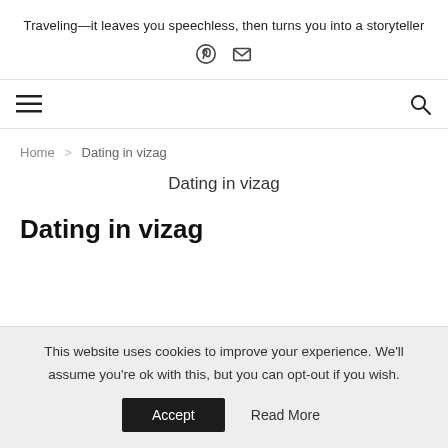Traveling—it leaves you speechless, then turns you into a storyteller
[Figure (other): Pinterest and email social icons]
[Figure (other): Hamburger menu icon on left, search icon on right — navigation bar]
Home > Dating in vizag
Dating in vizag
Dating in vizag
This website uses cookies to improve your experience. We'll assume you're ok with this, but you can opt-out if you wish.